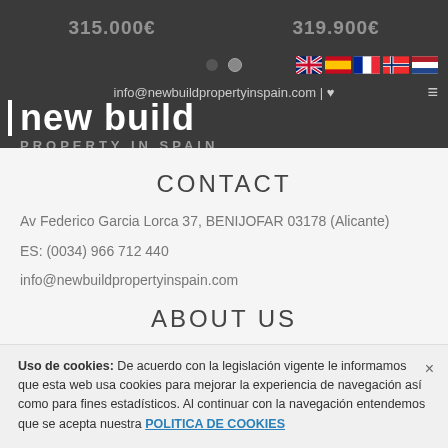[Figure (screenshot): Website header with price strips showing '315.000€' and '319.900€', pagination dots, flag icons (UK, Spain, France, Norway, Netherlands), email bar with 'info@newbuildpropertyinspain.com | heart icon', hamburger menu, and logo 'new build PROPERTY IN SPAIN' on dark background]
CONTACT
Av Federico Garcia Lorca 37, BENIJOFAR 03178 (Alicante)
ES: (0034) 966 712 440
info@newbuildpropertyinspain.com
ABOUT US
Uso de cookies: De acuerdo con la legislación vigente le informamos que esta web usa cookies para mejorar la experiencia de navegación así como para fines estadísticos. Al continuar con la navegación entendemos que se acepta nuestra POLITICA DE COOKIES